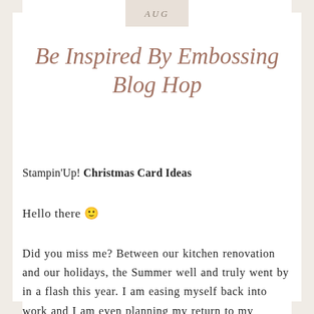AUG
Be Inspired By Embossing Blog Hop
Stampin'Up! Christmas Card Ideas
Hello there 🙂
Did you miss me? Between our kitchen renovation and our holidays, the Summer well and truly went by in a flash this year. I am easing myself back into work and I am even planning my return to my Facebook